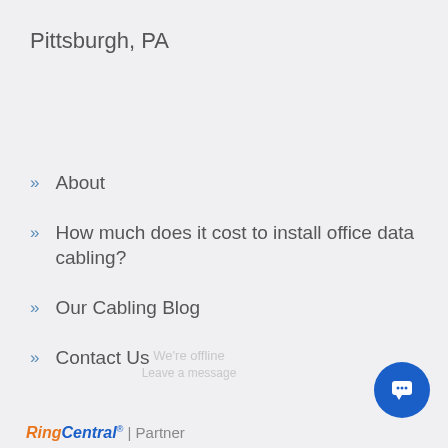Pittsburgh, PA
About
How much does it cost to install office data cabling?
Our Cabling Blog
Contact Us
We're offline
Leave a message
[Figure (other): Blue circular chat bubble icon with speech bubble graphic]
RingCentral® | Partner